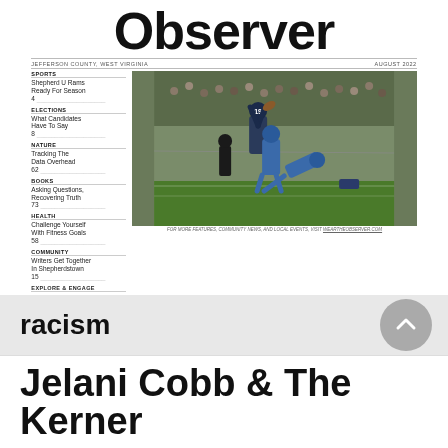Observer
JEFFERSON COUNTY, WEST VIRGINIA   AUGUST 2022
SPORTS
Shepherd U Rams Ready For Season
4
ELECTIONS
What Candidates Have To Say
8
NATURE
Tracking The Data Overhead
62
BOOKS
Asking Questions, Recovering Truth
73
HEALTH
Challenge Yourself With Fitness Goals
58
COMMUNITY
Writers Get Together In Shepherdstown
15
EXPLORE & ENGAGE
14 Events Calendar
18 Fairs & Festivals
18 Ambulance Updates
20 Community Issues
[Figure (photo): Football game action photo showing players in blue and dark uniforms competing for a catch near the end zone, with spectators in the background]
FOR MORE FEATURES, COMMUNITY NEWS, AND LOCAL EVENTS, VISIT WEARTHEOBSERVER.COM
racism
Jelani Cobb & The Kerner